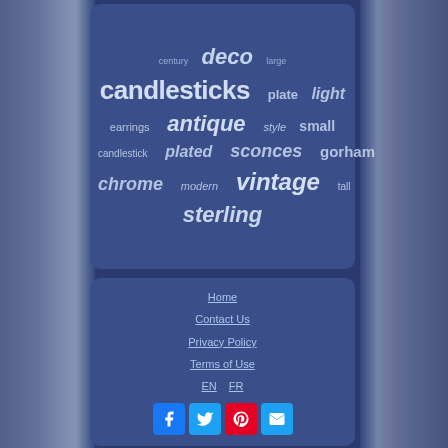[Figure (infographic): Word cloud on dark blue panel showing antique/vintage candlestick related keywords: century, deco, large, candlesticks, plate, light, earrings, antique, style, small, candlestick, plated, sconces, gorham, chrome, modern, vintage, tall, sterling]
Home
Contact Us
Privacy Policy
Terms of Use
EN  FR